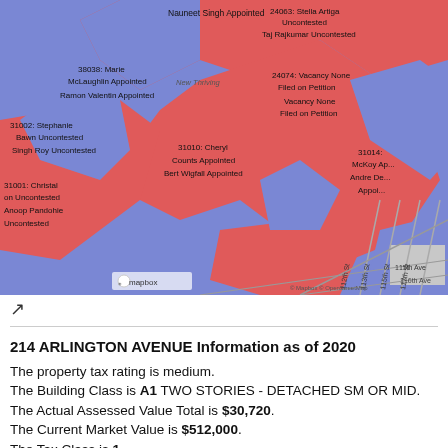[Figure (map): A mapbox map showing colored zoning or election district overlays (red and blue polygons) over a street grid near 115th Ave, Linden Blvd area. Labels include candidate/appointee names and parcel numbers such as 24063: Stella Artiga Uncontested, Taj Rajkumar Uncontested, 24074: Vacancy None Filed on Petition, 38038: Marie McLaughlin Appointed, Ramon Valentin Appointed, 31002: Stephanie Bawn Uncontested, Singh Roy Uncontested, 31001: Christal on Uncontested, Anoop Pandohie Uncontested, 31010: Cheryl Counts Appointed, Bert Wigfall Appointed, 31014: McKoy Appointed, Andre De Appointed. Attribution: mapbox, Mapbox OpenStreetMap.]
214 ARLINGTON AVENUE Information as of 2020
The property tax rating is medium.
The Building Class is A1 TWO STORIES - DETACHED SM OR MID.
The Actual Assessed Value Total is $30,720.
The Current Market Value is $512,000.
The Tax Class is 1.
The Current Taxable Total Assessed Value is $30,650.